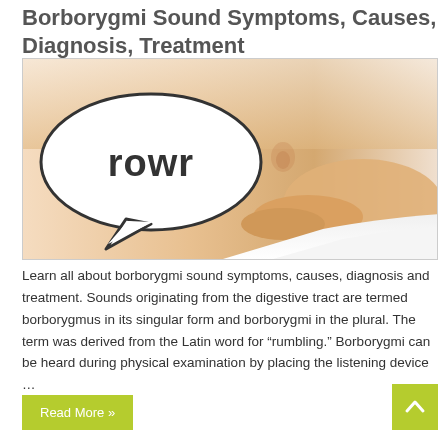Borborygmi Sound Symptoms, Causes, Diagnosis, Treatment
[Figure (photo): Close-up photo of a woman's bare abdomen/stomach area with a hand placed on it and a speech bubble with 'rowr' text overlay, representing stomach rumbling sounds.]
Learn all about borborygmi sound symptoms, causes, diagnosis and treatment. Sounds originating from the digestive tract are termed borborygmus in its singular form and borborygmi in the plural. The term was derived from the Latin word for “rumbling.” Borborygmi can be heard during physical examination by placing the listening device …